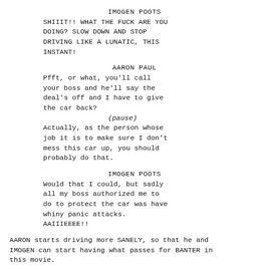IMOGEN POOTS
SHIIIT!! WHAT THE FUCK ARE YOU DOING? SLOW DOWN AND STOP DRIVING LIKE A LUNATIC, THIS INSTANT!
AARON PAUL
Pfft, or what, you'll call your boss and he'll say the deal's off and I have to give the car back?
(pause)
Actually, as the person whose job it is to make sure I don't mess this car up, you should probably do that.
IMOGEN POOTS
Would that I could, but sadly all my boss authorized me to do to protect the car was have whiny panic attacks.
AAIIIEEEE!!
AARON starts driving more SANELY, so that he and IMOGEN can start having what passes for BANTER in this movie.
IMOGEN POOTS
So you're off to get payback against Dominic, huh? It must be some revenge, to be worth